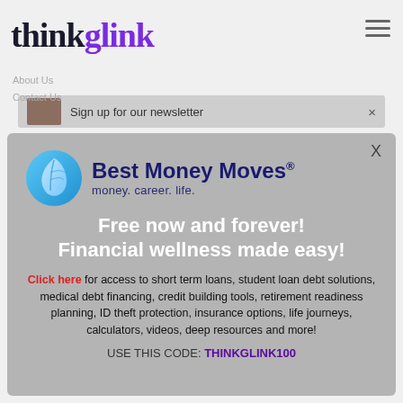thinkglink
About Us
Contact Us
Sign up for our newsletter  ×
[Figure (logo): Best Money Moves logo with blue circle leaf icon, text 'Best Money Moves® money. career. life.']
Free now and forever!
Financial wellness made easy!
Click here for access to short term loans, student loan debt solutions, medical debt financing, credit building tools, retirement readiness planning, ID theft protection, insurance options, life journeys, calculators, videos, deep resources and more!
USE THIS CODE: THINKGLINK100